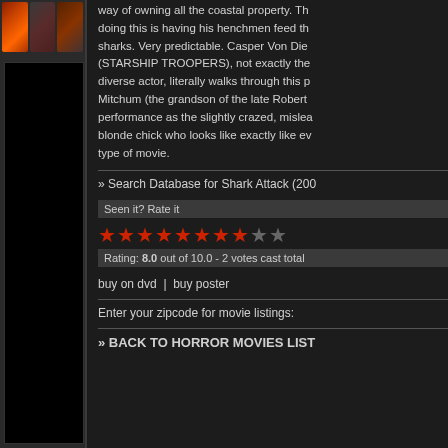[Figure (screenshot): Left sidebar with movie thumbnail images at top and a large black box below]
way of owning all the coastal property. Th doing this is having his henchmen feed th sharks. Very predictable. Casper Von Die (STARSHIP TROOPERS), not exactly the diverse actor, literally walks through this p Mitchum (the grandson of the late Robert performance as the slightly crazed, mislea blonde chick who looks like exactly like ev type of movie.
» Search Database for Shark Attack (200
Seen it? Rate it
[Figure (infographic): Star rating: 8 red stars and 2 gray stars out of 10]
Rating: 8.0 out of 10.0 - 2 votes cast total
buy on dvd  |  buy poster
Enter your zipcode for movie listings:
» BACK TO HORROR MOVIES LIST